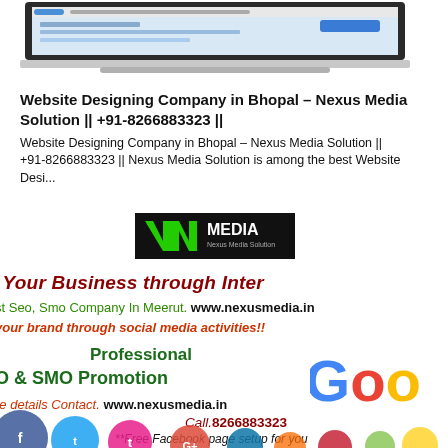[Figure (screenshot): Laptop computer showing a website interface on screen, partial top crop]
Website Designing Company in Bhopal – Nexus Media Solution || +91-8266883323 ||
Website Designing Company in Bhopal – Nexus Media Solution || +91-8266883323 || Nexus Media Solution is among the best Website Desi...
[Figure (logo): Nexus Media logo with green N chevron and MEDIA text on black background]
Your Business through Inter
st Seo, Smo Company In Meerut. www.nexusmedia.in
your brand through social media activities!!
Professional
O & SMO Promotion
[Figure (logo): Partial Google logo showing Goo in multicolor]
re details Contact. www.nexusmedia.in
Call.8266883323
**Free Facebook page setup for you
[Figure (illustration): Colorful social media icons bar at bottom including Facebook, Twitter, Tumblr, Google Plus bubbles]